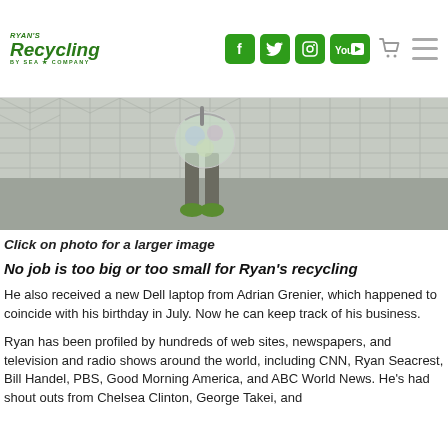Ryan's Recycling Company
[Figure (photo): Partial view of a person carrying a large bag of recyclables at a recycling facility with chain-link fence in the background]
Click on photo for a larger image
No job is too big or too small for Ryan's recycling
He also received a new Dell laptop from Adrian Grenier, which happened to coincide with his birthday in July. Now he can keep track of his business.
Ryan has been profiled by hundreds of web sites, newspapers, and television and radio shows around the world, including CNN, Ryan Seacrest, Bill Handel, PBS, Good Morning America, and ABC World News. He's had shout outs from Chelsea Clinton, George Takei, and